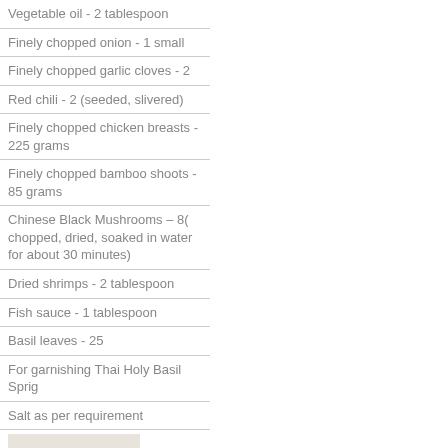Vegetable oil - 2 tablespoon
Finely chopped onion - 1 small
Finely chopped garlic cloves - 2
Red chili - 2 (seeded, slivered)
Finely chopped chicken breasts - 225 grams
Finely chopped bamboo shoots - 85 grams
Chinese Black Mushrooms – 8( chopped, dried, soaked in water for about 30 minutes)
Dried shrimps - 2 tablespoon
Fish sauce - 1 tablespoon
Basil leaves - 25
For garnishing Thai Holy Basil Sprig
Salt as per requirement
[Figure (photo): A plate of Thai chicken dish with rice, mushrooms, and green vegetables on a white plate]
How to make Chicken